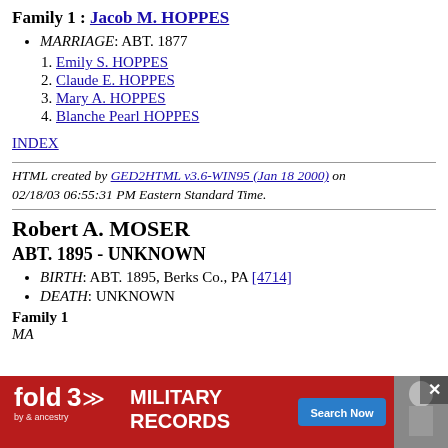Family 1 : Jacob M. HOPPES
MARRIAGE: ABT. 1877
1. Emily S. HOPPES
2. Claude E. HOPPES
3. Mary A. HOPPES
4. Blanche Pearl HOPPES
INDEX
HTML created by GED2HTML v3.6-WIN95 (Jan 18 2000) on 02/18/03 06:55:31 PM Eastern Standard Time.
Robert A. MOSER
ABT. 1895 - UNKNOWN
BIRTH: ABT. 1895, Berks Co., PA [4714]
DEATH: UNKNOWN
Family 1
[Figure (photo): Advertisement banner for Fold3 Military Records by Ancestry with a Search Now button and a photo of a soldier]